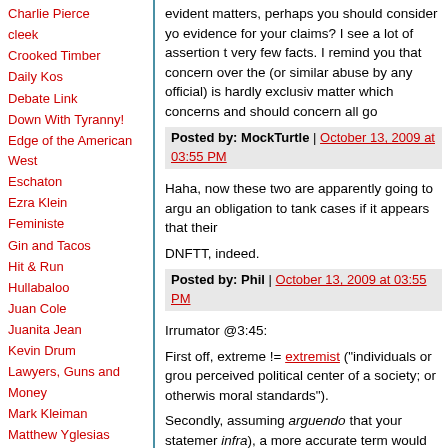Charlie Pierce
cleek
Crooked Timber
Daily Kos
Debate Link
Down With Tyranny!
Edge of the American West
Eschaton
Ezra Klein
Feministe
Gin and Tacos
Hit & Run
Hullabaloo
Juan Cole
Juanita Jean
Kevin Drum
Lawyers, Guns and Money
Mark Kleiman
Matthew Yglesias
Maxspeak
Mercury Rising
Michael Cain's Random
evident matters, perhaps you should consider your evidence for your claims? I see a lot of assertion t very few facts. I remind you that concern over the (or similar abuse by any official) is hardly exclusiv matter which concerns and should concern all go
Posted by: MockTurtle | October 13, 2009 at 03:55 PM
Haha, now these two are apparently going to argu an obligation to tank cases if it appears that their
DNFTT, indeed.
Posted by: Phil | October 13, 2009 at 03:55 PM
Irrumator @3:45:
First off, extreme != extremist ("individuals or grou perceived political center of a society; or otherwis moral standards").
Secondly, assuming arguendo that your statemer infra), a more accurate term would be "absolutist" less inflammatory.